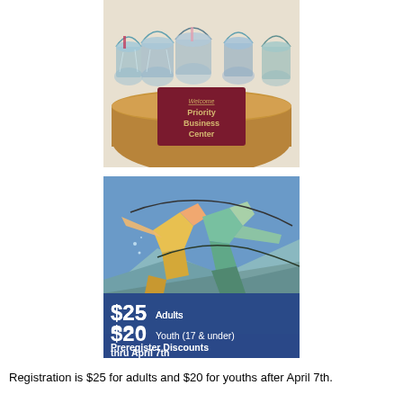[Figure (photo): Photo of a Priority Business Center welcome desk with gift baskets on top, wooden curved counter with a maroon sign reading 'Welcome Priority Business Center']
[Figure (illustration): Colorful stained-glass style illustration of two runners/athletes on a blue background with text overlay: '$25 Adults, $20 Youth (17 & under), Preregister Discounts thru April 7th']
Registration is $25 for adults and $20 for youths after April 7th.